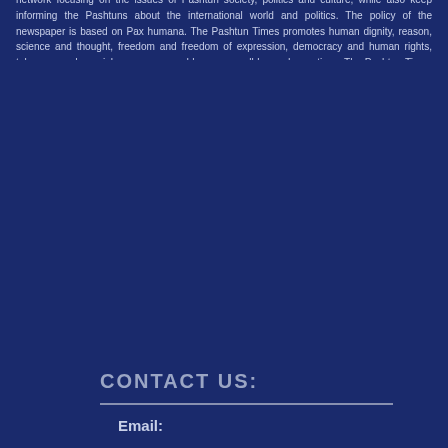network focusing on the issues of Pashtun society, politics and culture, while also keep informing the Pashtuns about the international world and politics. The policy of the newspaper is based on Pax humana. The Pashtun Times promotes human dignity, reason, science and thought, freedom and freedom of expression, democracy and human rights, tolerance and nonviolence, peace and harmony – all beyond narratives. The Pashtun Times aims to familiarize the Pashtuns with the world affairs and inform the world community with politics, society and culture of the Pashtun people. The Pashtun Times promotes uncensored and free education irrespective of race, creed and color. It considers itself the part of Malala's Mission for education and admires the social reforms of Bacha Khan. The Pashtun Times discourages gender discrimination and promotes egalitarianism across the world.
THE PASHTUN TIMES
CONTACT US:
Email: